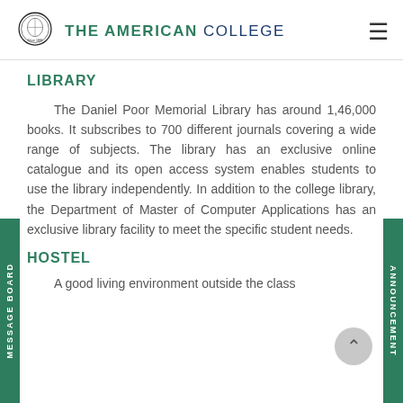THE AMERICAN COLLEGE
LIBRARY
The Daniel Poor Memorial Library has around 1,46,000 books. It subscribes to 700 different journals covering a wide range of subjects. The library has an exclusive online catalogue and its open access system enables students to use the library independently. In addition to the college library, the Department of Master of Computer Applications has an exclusive library facility to meet the specific student needs.
HOSTEL
A good living environment outside the class